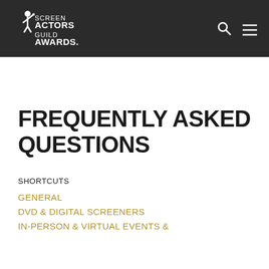SCREEN ACTORS GUILD AWARDS
FREQUENTLY ASKED QUESTIONS
SHORTCUTS
GENERAL
DVD & DIGITAL SCREENERS
IN-PERSON & VIRTUAL EVENTS &